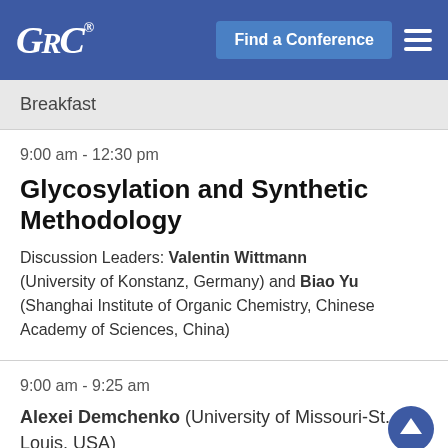GRC® | Find a Conference
Breakfast
9:00 am - 12:30 pm
Glycosylation and Synthetic Methodology
Discussion Leaders: Valentin Wittmann (University of Konstanz, Germany) and Biao Yu (Shanghai Institute of Organic Chemistry, Chinese Academy of Sciences, China)
9:00 am - 9:25 am
Alexei Demchenko (University of Missouri-St. Louis, USA)